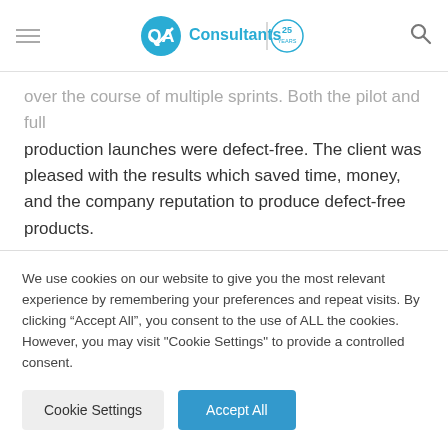QA Consultants | 25 Years
over the course of multiple sprints. Both the pilot and full production launches were defect-free. The client was pleased with the results which saved time, money, and the company reputation to produce defect-free products.
The user base was ecstatic with the new digital approach to the sales process. The financial institution engaged QA
We use cookies on our website to give you the most relevant experience by remembering your preferences and repeat visits. By clicking “Accept All”, you consent to the use of ALL the cookies. However, you may visit "Cookie Settings" to provide a controlled consent.